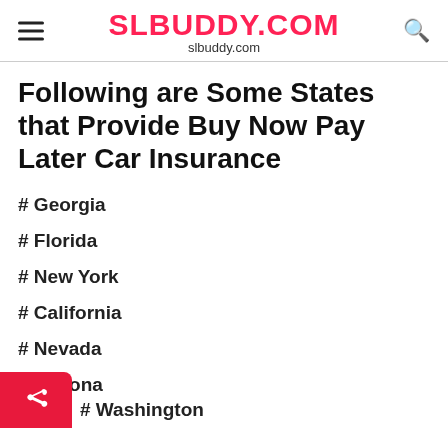SLBUDDY.COM
slbuddy.com
Following are Some States that Provide Buy Now Pay Later Car Insurance
# Georgia
# Florida
# New York
# California
# Nevada
# Arizona
# Washington